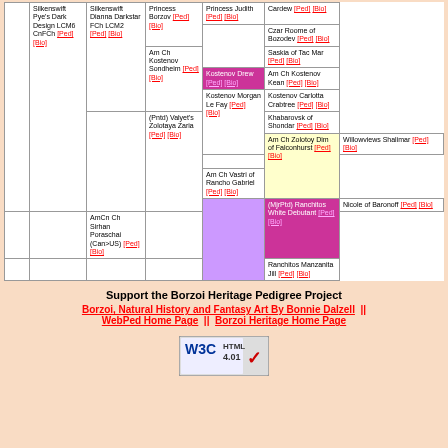|  | Silkenswift Pye's Dark Design LCM6 CnFCh [Ped] [Bio] | Silkenswift Dianna Darkstar FCh LCM2 [Ped] [Bio] | Princess Borzov [Ped] [Bio] | Princess Judith [Ped] [Bio] | Cardew [Ped] [Bio] |
|  |  |  |  |  | Czar Roome of Bozodev [Ped] [Bio] |
|  |  |  |  |  | Saskia of Tac Mar [Ped] [Bio] |
|  |  |  | Am Ch Kostenov Sondheim [Ped] [Bio] | Kostenov Drew [Ped] [Bio] | Am Ch Kostenov Kean [Ped] [Bio] |
|  |  |  |  |  | Kostenov Carlotta Crabtree [Ped] [Bio] |
|  |  |  |  | Kostenov Morgan Le Fay [Ped] [Bio] | Khabarovsk of Shondar [Ped] [Bio] |
|  |  |  |  |  | Willowviews Shalimar [Ped] [Bio] |
|  |  |  | (Pntd) Valyet's Zolotaya Zaria [Ped] [Bio] | Am Ch Zolotoy Dim of Falconhurst [Ped] [Bio] | Am Ch Vastri of Rancho Gabriel [Ped] [Bio] |
|  |  |  |  |  | Nicole of Baronoff [Ped] [Bio] |
|  |  |  |  | (MjrPtd) Ranchitos White Debutant [Ped] [Bio] | AmCn Ch Sirhan Poraschai (Can>US) [Ped] [Bio] |
|  |  |  |  |  | Ranchitos Manzanita Jill [Ped] [Bio] |
Support the Borzoi Heritage Pedigree Project
Borzoi, Natural History and Fantasy Art By Bonnie Dalzell  ||  WebPed Home Page  ||  Borzoi Heritage Home Page
[Figure (logo): W3C HTML 4.01 validation badge with checkmark]